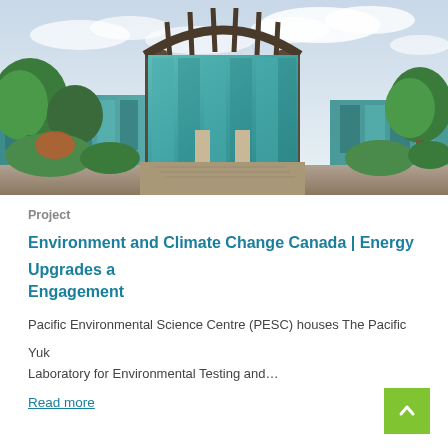[Figure (photo): Exterior photo of Pacific Environmental Science Centre (PESC), a modern building with glass facade, curved steel arch canopy, and surrounding green trees under a partly cloudy sky.]
Project
Environment and Climate Change Canada | Energy Upgrades and Engagement
Pacific Environmental Science Centre (PESC) houses The Pacific Yukon Laboratory for Environmental Testing and...
Read more